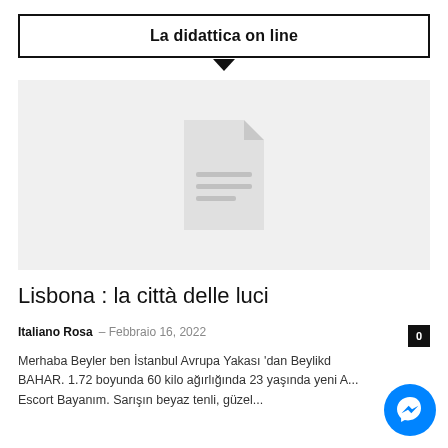La didattica on line
[Figure (illustration): Gray placeholder box with a document/file icon in the center]
Lisbona : la città delle luci
Italiano Rosa — Febbraio 16, 2022   0
Merhaba Beyler ben İstanbul Avrupa Yakası 'dan Beylikd... BAHAR. 1.72 boyunda 60 kilo ağırlığında 23 yaşında yeni A... Escort Bayanım. Sarışın beyaz tenli, güzel...